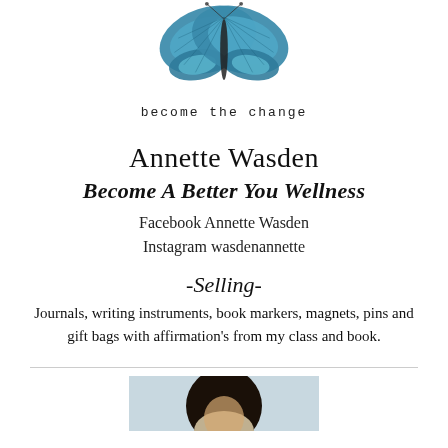[Figure (illustration): Blue morpho butterfly with wings spread, above the text 'become the change']
become the change
Annette Wasden
Become A Better You Wellness
Facebook Annette Wasden
Instagram wasdenannette
-Selling-
Journals, writing instruments, book markers, magnets, pins and gift bags with affirmation's from my class and book.
[Figure (photo): Partial photo of a person at the bottom of the page]